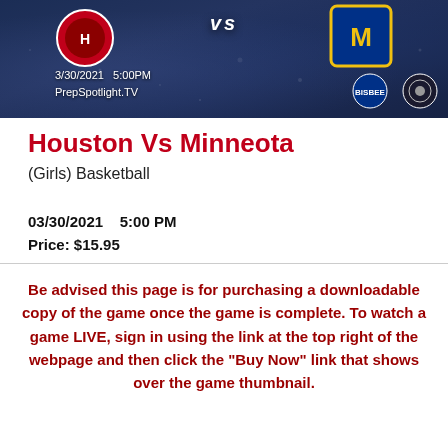[Figure (screenshot): Dark blue banner showing Houston vs Minneota basketball game, date 3/30/2021 5:00PM, PrepSpotlight.TV, with team logos and sponsor logos]
Houston Vs Minneota
(Girls) Basketball
03/30/2021    5:00 PM
Price: $15.95
Be advised this page is for purchasing a downloadable copy of the game once the game is complete. To watch a game LIVE, sign in using the link at the top right of the webpage and then click the "Buy Now" link that shows over the game thumbnail.